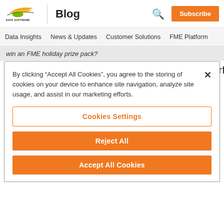SAFE SOFTWARE Blog | Subscribe
Data Insights  News & Updates  Customer Solutions  FME Platform
win an FME holiday prize pack?
The prize pack contains a 2TB hard drive, scarf, hat, ice
By clicking “Accept All Cookies”, you agree to the storing of cookies on your device to enhance site navigation, analyze site usage, and assist in our marketing efforts.
Cookies Settings
Reject All
Accept All Cookies